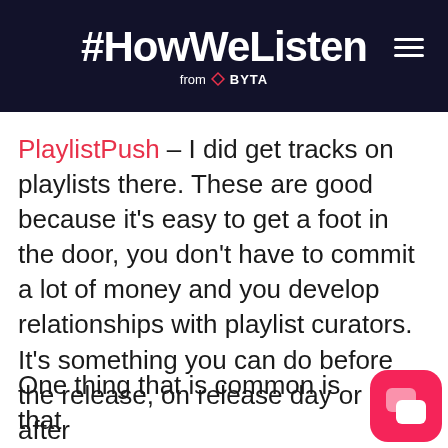#HowWeListen from BYTA
PlaylistPush – I did get tracks on playlists there. These are good because it's easy to get a foot in the door, you don't have to commit a lot of money and you develop relationships with playlist curators. It's something you can do before the release, on release day or even after
One thing that is common is that